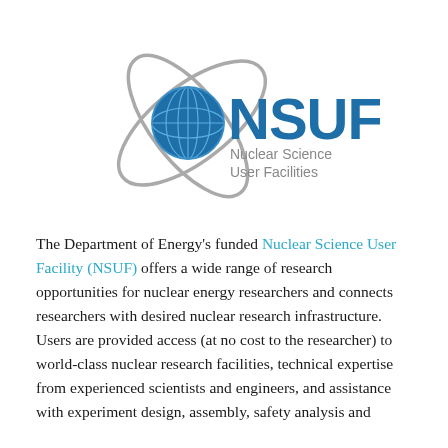[Figure (logo): NSUF Nuclear Science User Facilities logo — a blue globe with grey orbital rings, large blue block letters 'NSUF', and grey text 'Nuclear Science User Facilities' to the right.]
The Department of Energy's funded Nuclear Science User Facility (NSUF) offers a wide range of research opportunities for nuclear energy researchers and connects researchers with desired nuclear research infrastructure. Users are provided access (at no cost to the researcher) to world-class nuclear research facilities, technical expertise from experienced scientists and engineers, and assistance with experiment design, assembly, safety analysis and